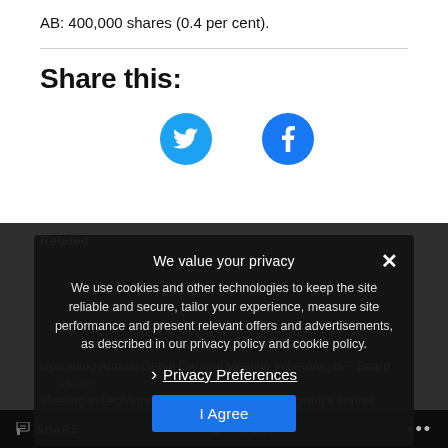AB: 400,000 shares (0.4 per cent).
Share this:
[Figure (illustration): Twitter bird icon (cyan circle with white bird) and Facebook 'f' icon (blue circle with white f) for social sharing]
Related
[Figure (screenshot): Privacy consent modal overlay on dark background with text: We value your privacy. We use cookies and other technologies to keep the site reliable and secure, tailor your experience, measure site performance and present relevant offers and advertisements, as described in our privacy policy and cookie policy. Privacy Preferences link and I Agree button.]
Upcoming Annual General Meeting in LeoVegas – Board
from LeoVegas AB (publ)'s annual
SHARE    TWEET    ...